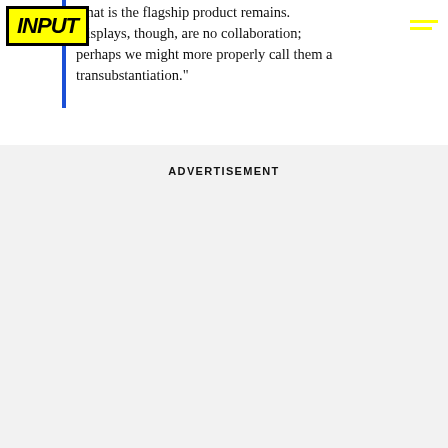INPUT
what is the flagship product remains. Displays, though, are no collaboration: perhaps we might more properly call them a transubstantiation."
ADVERTISEMENT